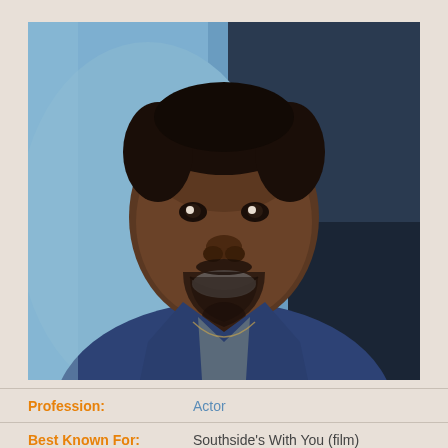[Figure (photo): Portrait photo of a smiling young Black man with a beard, wearing a denim jacket over a gray shirt, photographed against a blurred blue/dark background.]
| Field | Value |
| --- | --- |
| Profession: | Actor |
| Best Known For: | Southside's With You (film) |
| Salary: | Under Review |
| Net Worth: | Under Review |